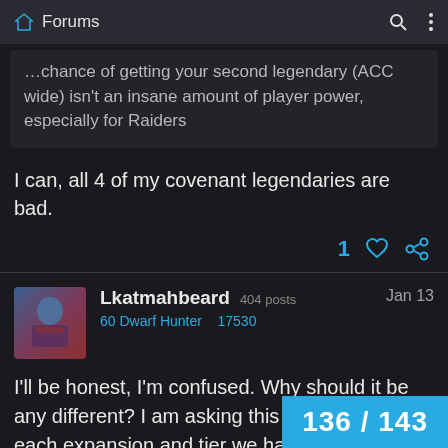Forums
…chance of getting your second legendary (ACC wide) isn't an insane amount of player power, especially for Raiders
I can, all 4 of my covenant legendaries are bad.
Lkatmahbeard  404 posts  60 Dwarf Hunter  17530  Jan 13
I'll be honest, I'm confused. Why should it be any different? I am asking this seriously. In each expansion and tier we have had to grind and earn stuff from the new content added. Rep, Items, dungeons etc. I will be
136 / 143